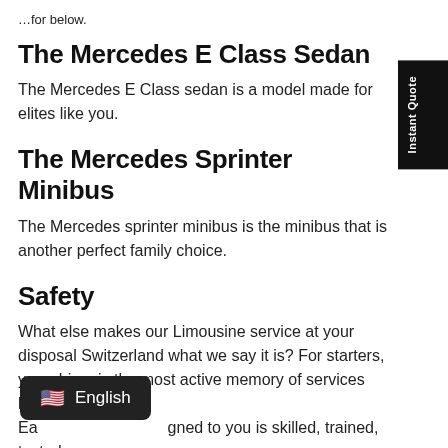…for below.
The Mercedes E Class Sedan
The Mercedes E Class sedan is a model made for elites like you.
The Mercedes Sprinter Minibus
The Mercedes sprinter minibus is the minibus that is another perfect family choice.
Safety
What else makes our Limousine service at your disposal Switzerland what we say it is? For starters, your driver is the most active memory of services like th…
Ea… gned to you is skilled, trained, tested,